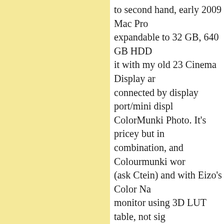to second hand, early 2009 Mac Pro expandable to 32 GB, 640 GB HDD it with my old 23 Cinema Display a connected by display port/mini displ ColorMunki Photo. It's pricey but in combination, and Colourmunki wor (ask Ctein) and with Eizo's Color Na monitor using 3D LUT table, not sig and Cinema Display are smaller tha when you use two monitors it's plen Capsule and some external drives. I better to wait and buy more future p P.S Please forgive my poor english :
Posted by: Piotr Stachowski | Thursday, 30 September
"Why can't I listen to my own advic
Mark,
...And therein lies a subtle and exten